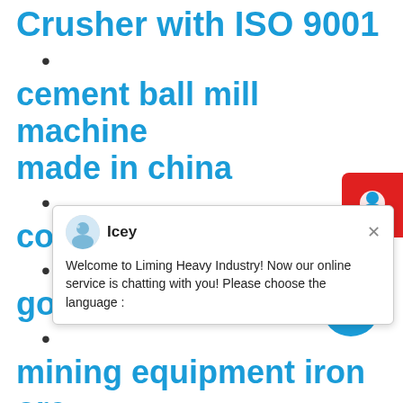Crusher with ISO 9001
•
cement ball mill machine made in china
•
conveyor
•
gold mining industrial
•
mining equipment iron ore
[Figure (screenshot): Chat popup from Liming Heavy Industry with avatar of Icey and message: Welcome to Liming Heavy Industry! Now our online service is chatting with you! Please choose the language:]